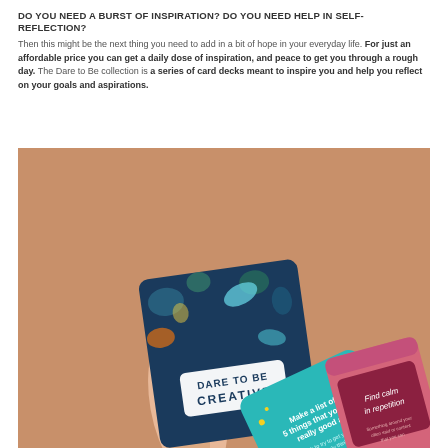DO YOU NEED A BURST OF INSPIRATION? DO YOU NEED HELP IN SELF-REFLECTION?
Then this might be the next thing you need to add in a bit of hope in your everyday life. For just an affordable price you can get a daily dose of inspiration, and peace to get you through a rough day. The Dare to Be collection is a series of card decks meant to inspire you and help you reflect on your goals and aspirations.
[Figure (photo): A hand holding up the 'Dare to Be Creative' card deck box with a colorful floral/bird design on a warm terracotta background. In the lower right, two cards are fanned out: a teal card reading 'Make a list of 5 things that you're really good at' and a mauve/pink card reading 'Find calm in repetition'.]